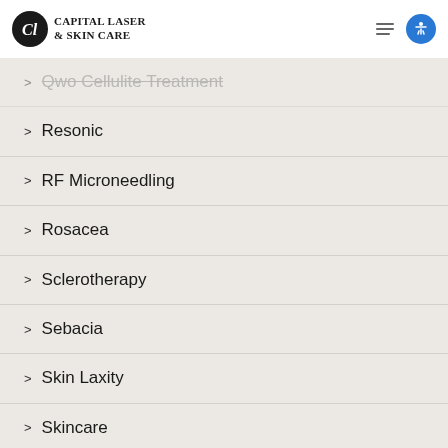Capital Laser & Skin Care
Qwo Cellulite Treatment
Resonic
RF Microneedling
Rosacea
Sclerotherapy
Sebacia
Skin Laxity
Skincare
Soliton